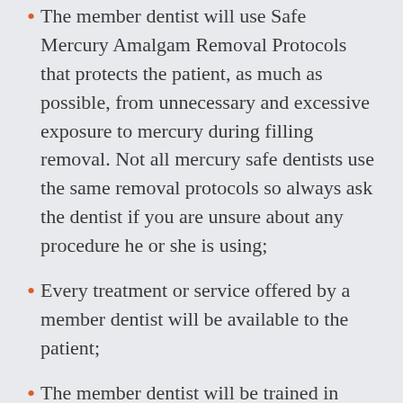The member dentist will use Safe Mercury Amalgam Removal Protocols that protects the patient, as much as possible, from unnecessary and excessive exposure to mercury during filling removal. Not all mercury safe dentists use the same removal protocols so always ask the dentist if you are unsure about any procedure he or she is using;
Every treatment or service offered by a member dentist will be available to the patient;
The member dentist will be trained in every treatment and therapy he or she offers;
The member dentist will, if requested, provide patients with a source of information about the health hazards of mercury amalgam/silver fillings,